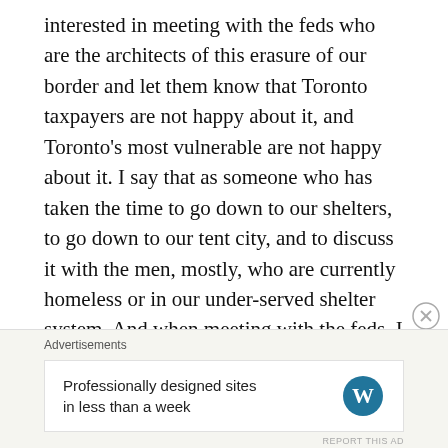interested in meeting with the feds who are the architects of this erasure of our border and let them know that Toronto taxpayers are not happy about it, and Toronto's most vulnerable are not happy about it. I say that as someone who has taken the time to go down to our shelters, to go down to our tent city, and to discuss it with the men, mostly, who are currently homeless or in our under-served shelter system. And when meeting with the feds, I would articulate the fact that Torontonians were never asked if we wanted to erase our southern border, and we were never asked if we wanted to pay for the repercussions that came thereafter. What I anticipate is that Justin Trudeau and myself will arrange an
Advertisements
Professionally designed sites in less than a week